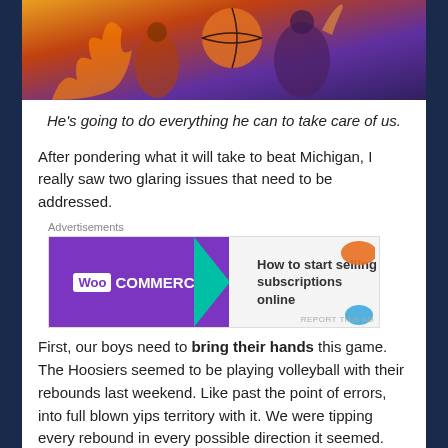[Figure (photo): Basketball-related photo with orange, red and purple colors, showing players and a basketball]
He's going to do everything he can to take care of us.
After pondering what it will take to beat Michigan, I really saw two glaring issues that need to be addressed.
[Figure (other): WooCommerce advertisement banner: 'How to start selling subscriptions online']
First, our boys need to bring their hands this game. The Hoosiers seemed to be playing volleyball with their rebounds last weekend. Like past the point of errors, into full blown yips territory with it. We were tipping every rebound in every possible direction it seemed. That cannot happen Thursday or we are dead in the water. The only thing that kills momentum more